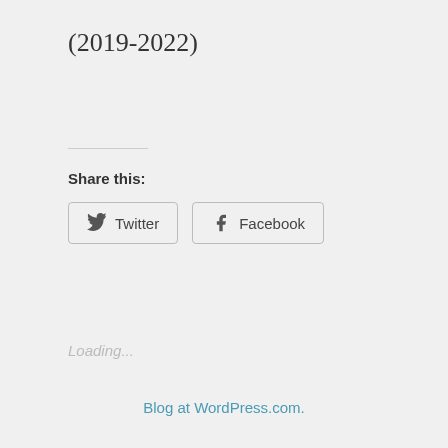(2019-2022)
Share this:
[Figure (other): Twitter and Facebook share buttons]
Loading...
Blog at WordPress.com.